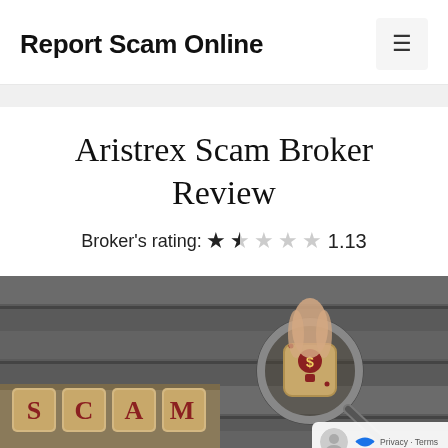Report Scam Online
Aristrex Scam Broker Review
Broker's rating: ★☆☆☆☆ 1.13
[Figure (photo): Photo showing wooden letter tiles spelling SCAM with a magnifying glass held over a money bag dice, on a rustic wooden background.]